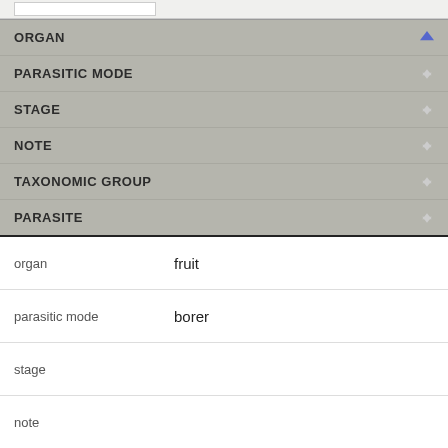| ORGAN | PARASITIC MODE | STAGE | NOTE | TAXONOMIC GROUP | PARASITE |
| --- | --- | --- | --- | --- | --- |
| organ | fruit |
| parasitic mode | borer |
| stage |  |
| note |  |
| tax. group | Eurytomidae |
| parasite | Bruchophagus insulare |
| organ | fruit |